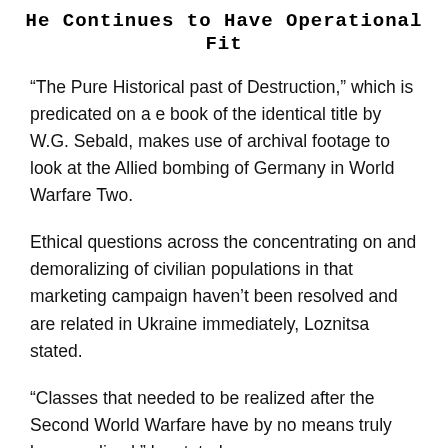He Continues to Have Operational Fit
“The Pure Historical past of Destruction,” which is predicated on a e book of the identical title by W.G. Sebald, makes use of archival footage to look at the Allied bombing of Germany in World Warfare Two.
Ethical questions across the concentrating on and demoralizing of civilian populations in that marketing campaign haven’t been resolved and are related in Ukraine immediately, Loznitsa stated.
“Classes that needed to be realized after the Second World Warfare have by no means truly been realized,” he stated.
On a subject that has created buzz at Cannes,